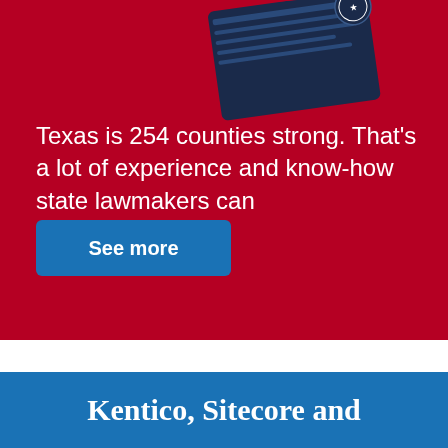[Figure (illustration): Dark blue card/document angled on red background, with a circular seal/logo visible in upper right corner of card]
Texas is 254 counties strong. That's a lot of experience and know-how state lawmakers can
See more
Kentico, Sitecore and